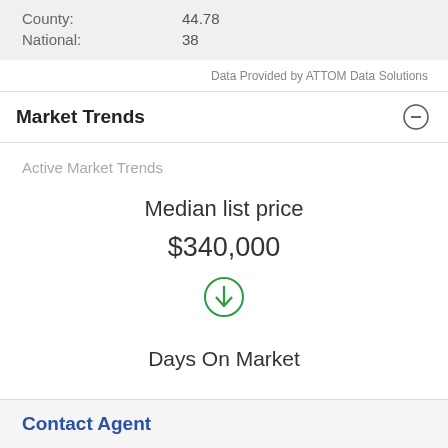| County: | 44.78 |
| National: | 38 |
Data Provided by ATTOM Data Solutions
Market Trends
Active Market Trends
Median list price
$340,000
[Figure (illustration): Green circle with downward arrow indicating price decrease]
Days On Market
Contact Agent